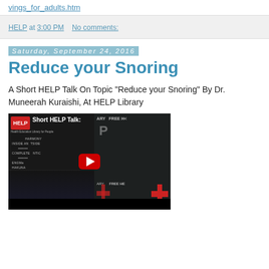vings_for_adults.htm
HELP at 3:00 PM    No comments:
Saturday, September 24, 2016
Reduce your Snoring
A Short HELP Talk On Topic "Reduce your Snoring" By Dr. Muneerah Kuraishi, At HELP Library
[Figure (screenshot): YouTube video thumbnail showing a Short HELP Talk, with a woman in front of a chalkboard-style backdrop with text including HARMONY, INSIDE AND OUTSIDE, COMPLETE, AUTHENTIC, ENGMA, HAKUNA, and the HELP Library banner on the right side. A red YouTube play button is visible in the center.]